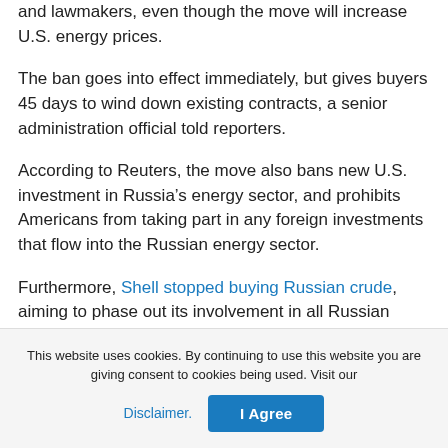and lawmakers, even though the move will increase U.S. energy prices.
The ban goes into effect immediately, but gives buyers 45 days to wind down existing contracts, a senior administration official told reporters.
According to Reuters, the move also bans new U.S. investment in Russia’s energy sector, and prohibits Americans from taking part in any foreign investments that flow into the Russian energy sector.
Furthermore, Shell stopped buying Russian crude, aiming to phase out its involvement in all Russian hydrocarbons from oil to natural gas over Ukraine.
This website uses cookies. By continuing to use this website you are giving consent to cookies being used. Visit our Disclaimer. I Agree